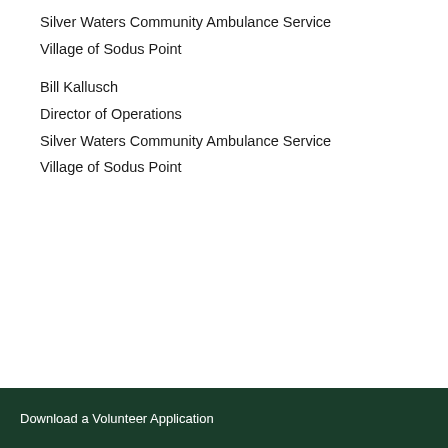Silver Waters Community Ambulance Service
Village of Sodus Point
Bill Kallusch
Director of Operations
Silver Waters Community Ambulance Service
Village of Sodus Point
Download a Volunteer Application